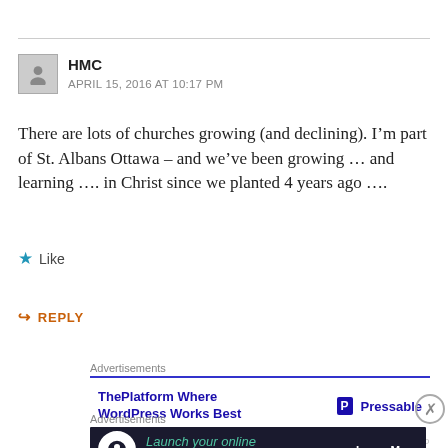HMC
APRIL 15, 2016 AT 10:17 PM
There are lots of churches growing (and declining). I’m part of St. Albans Ottawa – and we’ve been growing ... and learning .... in Christ since we planted 4 years ago ....
Like
REPLY
Advertisements
[Figure (screenshot): Advertisement: ThePlatform Where WordPress Works Best | Pressable]
Advertisements
[Figure (screenshot): Advertisement: Launch your online course with WordPress — Learn More]